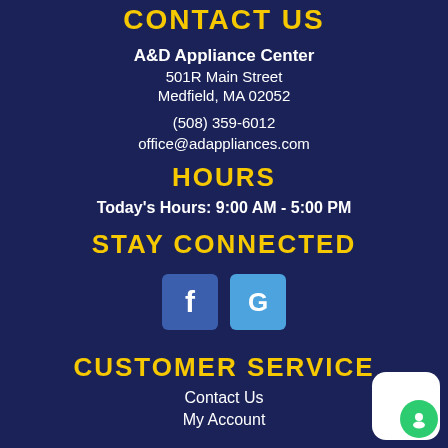CONTACT US
A&D Appliance Center
501R Main Street
Medfield, MA 02052
(508) 359-6012
office@adappliances.com
HOURS
Today's Hours: 9:00 AM - 5:00 PM
STAY CONNECTED
[Figure (illustration): Facebook and Google social media icon buttons]
CUSTOMER SERVICE
Contact Us
My Account